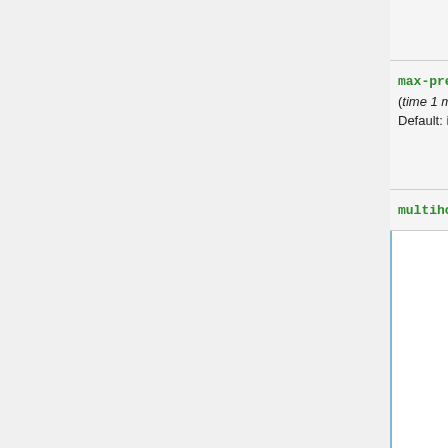| Parameter | Description |
| --- | --- |
| (continuation) | accept from a specific peer. When this limit exceeded, TCP connection between peers tear down |
| max-prefix-restart-time (time 1 minute .. 10 days | infinity; Default: infinity) | minimum time interval after which peers can reestablish BGP session.
infinity - session is not reestablished until administrator intervention |
| multihop (yes | no; Default: no) | specifies whether the remote peer more than one |